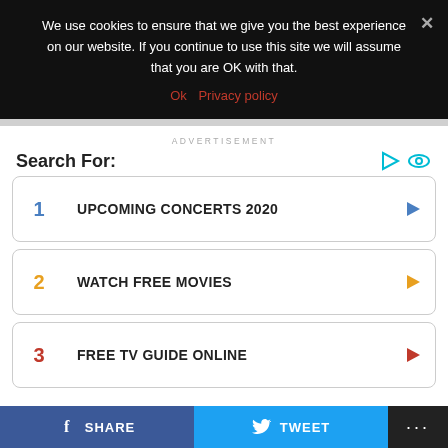We use cookies to ensure that we give you the best experience on our website. If you continue to use this site we will assume that you are OK with that.
Ok   Privacy policy
ADVERTISEMENT
Search For:
1  UPCOMING CONCERTS 2020
2  WATCH FREE MOVIES
3  FREE TV GUIDE ONLINE
SHARE   TWEET   ...